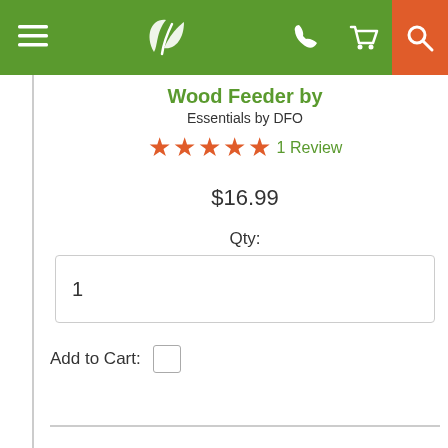[Figure (screenshot): Green navigation bar with hamburger menu, leaf logo, phone icon, cart icon, and orange search icon]
Wood Feeder by
Essentials by DFO
★★★★★ 1 Review
$16.99
Qty:
1
Add to Cart:
ADD TO CART